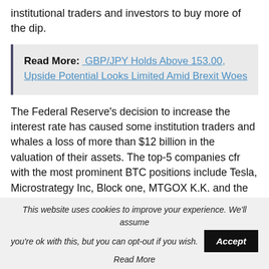institutional traders and investors to buy more of the dip.
Read More: GBP/JPY Holds Above 153.00, Upside Potential Looks Limited Amid Brexit Woes
The Federal Reserve's decision to increase the interest rate has caused some institution traders and whales a loss of more than $12 billion in the valuation of their assets. The top-5 companies cfr with the most prominent BTC positions include Tesla, Microstrategy Inc, Block one, MTGOX K.K. and the Tezos
This website uses cookies to improve your experience. We'll assume you're ok with this, but you can opt-out if you wish. Accept Read More